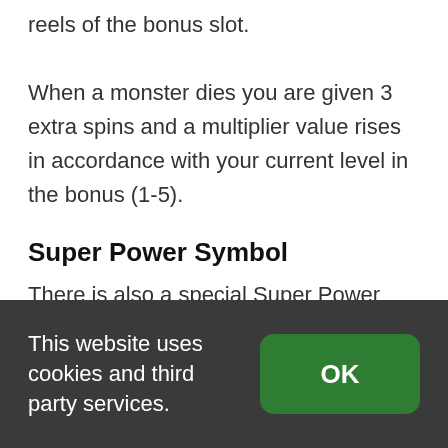reels of the bonus slot.

When a monster dies you are given 3 extra spins and a multiplier value rises in accordance with your current level in the bonus (1-5).
Super Power Symbol
There is also a special Super Power Symbol which will trigger the Super Power Wheel, this gives players the chance of a free re-spin with one of four different features.
This website uses cookies and third party services.